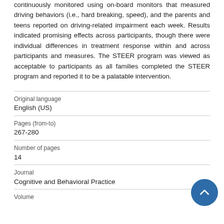continuously monitored using on-board monitors that measured driving behaviors (i.e., hard breaking, speed), and the parents and teens reported on driving-related impairment each week. Results indicated promising effects across participants, though there were individual differences in treatment response within and across participants and measures. The STEER program was viewed as acceptable to participants as all families completed the STEER program and reported it to be a palatable intervention.
| Original language | English (US) |
| Pages (from-to) | 267-280 |
| Number of pages | 14 |
| Journal | Cognitive and Behavioral Practice |
| Volume |  |